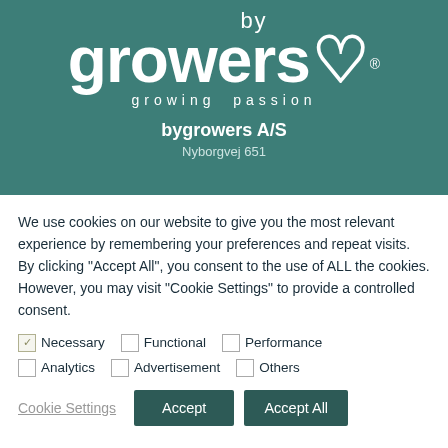[Figure (logo): bygrowers logo with 'growing passion' tagline on teal background, followed by company name 'bygrowers A/S' and address 'Nyborgvej 651']
We use cookies on our website to give you the most relevant experience by remembering your preferences and repeat visits. By clicking "Accept All", you consent to the use of ALL the cookies. However, you may visit "Cookie Settings" to provide a controlled consent.
☑ Necessary   ☐ Functional   ☐ Performance
☐ Analytics   ☐ Advertisement   ☐ Others
Cookie Settings   Accept   Accept All